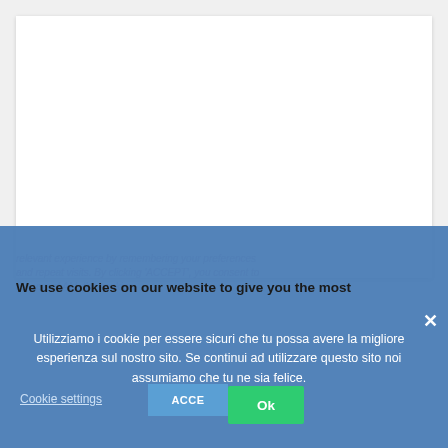[Figure (screenshot): White document card area in upper portion of the page, partially visible behind cookie consent overlays]
We use cookies on our website to give you the most relevant experience by remembering your preferences and repeat visits. By clicking 'ACCEPT', you consent to the use of ALL the cookies.
Utilizziamo i cookie per essere sicuri che tu possa avere la migliore esperienza sul nostro sito. Se continui ad utilizzare questo sito noi assumiamo che tu ne sia felice.
Cookie settings
ACCEPT
Ok